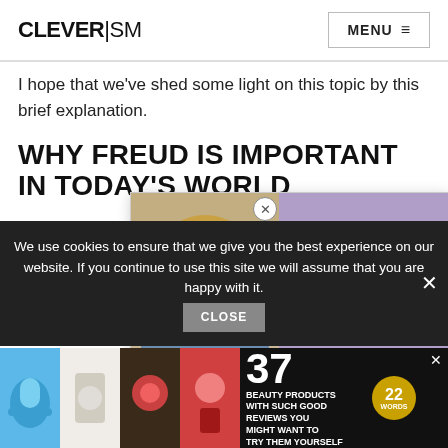CLEVERISM  MENU
I hope that we've shed some light on this topic by this brief explanation.
WHY FREUD IS IMPORTANT IN TODAY'S WORLD
Freud set the bar so high for o... because his theory of Id, Ego, ... undisputed for little over a cen...
[Figure (photo): Popup advertisement showing a smiling blonde woman with text: IMPROVE YOUR GRAD SCHOOL APP]
We use cookies to ensure that we give you the best experience on our website. If you continue to use this site we will assume that you are happy with it.
[Figure (infographic): Bottom advertisement: 37 BEAUTY PRODUCTS WITH SUCH GOOD REVIEWS YOU MIGHT WANT TO TRY THEM YOURSELF, with a badge showing 22 WORDS]